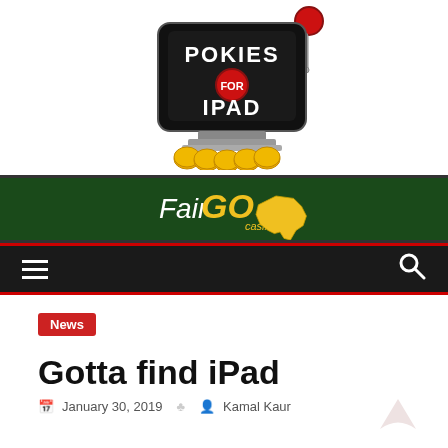[Figure (logo): Pokies for iPad logo - slot machine with iPad displaying 'POKIES FOR IPAD' text, red ball on top lever, gold coins at base]
[Figure (logo): Fair Go Casino banner - dark green background with 'FairGo casino' text and yellow Australia map shape]
[Figure (other): Navigation bar with hamburger menu icon on left and search icon on right, dark background with red border]
News
Gotta find iPad
January 30, 2019   Kamal Kaur